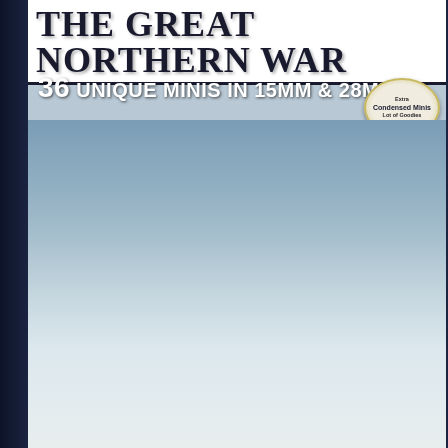THE GREAT NORTHERN WAR
36 UNIQUE MINIS IN 15MM & 28MM
[Figure (illustration): Cover illustration showing multiple chibi-style cartoon miniature soldiers from the Great Northern War era, dressed in period uniforms (Swedish and Russian styles), carrying muskets, spears, and cannons, standing in a snowy winter landscape with snowflakes falling. Characters include infantry, cavalry on horseback, and artillery crew wearing tricorn hats and tall pointed helmets.]